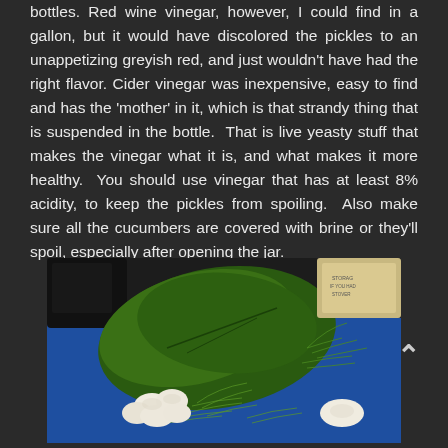bottles. Red wine vinegar, however, I could find in a gallon, but it would have discolored the pickles to an unappetizing greyish red, and just wouldn't have had the right flavor. Cider vinegar was inexpensive, easy to find and has the 'mother' in it, which is that strandy thing that is suspended in the bottle.  That is live yeasty stuff that makes the vinegar what it is, and what makes it more healthy.  You should use vinegar that has at least 8% acidity, to keep the pickles from spoiling.  Also make sure all the cucumbers are covered with brine or they'll spoil, especially after opening the jar.
[Figure (photo): Photo of pickling ingredients on a blue surface: large green leaves, garlic cloves, and fresh dill fronds. Dark background items visible in upper portion.]